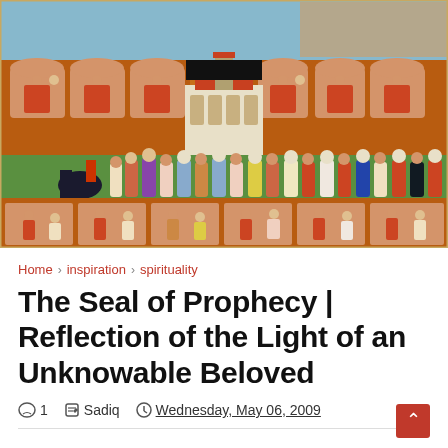[Figure (illustration): Historical Islamic miniature painting showing figures in traditional dress in a courtyard or palace setting, with architectural elements, arched windows, and a central pavilion. A black rectangle censors part of the image. Multiple rows of figures are depicted.]
Home > inspiration > spirituality
The Seal of Prophecy | Reflection of the Light of an Unknowable Beloved
1   Sadiq   Wednesday, May 06, 2009